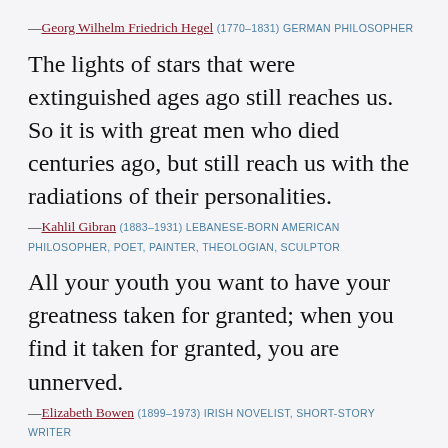—Georg Wilhelm Friedrich Hegel (1770–1831) GERMAN PHILOSOPHER
The lights of stars that were extinguished ages ago still reaches us. So it is with great men who died centuries ago, but still reach us with the radiations of their personalities.
—Kahlil Gibran (1883–1931) LEBANESE-BORN AMERICAN PHILOSOPHER, POET, PAINTER, THEOLOGIAN, SCULPTOR
All your youth you want to have your greatness taken for granted; when you find it taken for granted, you are unnerved.
—Elizabeth Bowen (1899–1973) IRISH NOVELIST, SHORT-STORY WRITER